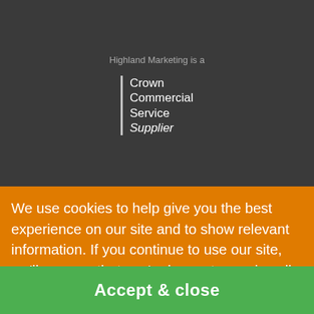Highland Marketing is a
[Figure (logo): Crown Commercial Service Supplier logo with vertical bar and white text]
Highland Marketing is a member of
[Figure (logo): health foundry logo with dot grid and bold white text]
We use cookies to help give you the best experience on our site and to show relevant information. If you continue to use our site, we'll assume that you're happy to receive all cookies. Learn more
Accept & close